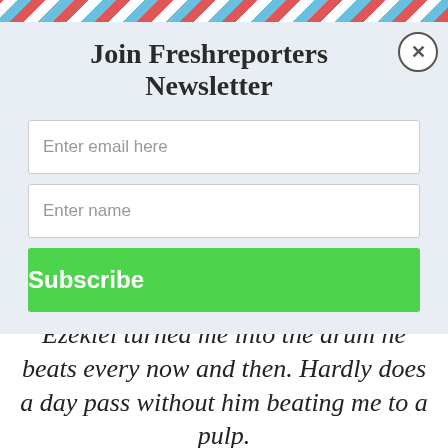Join Freshreporters Newsletter
Enter email here
Enter name
Subscribe
into 17 years ago called marriage.
Ezekiel turned me into the drum he beats every now and then. Hardly does a day pass without him beating me to a pulp.
✕ CLOSE
[Figure (infographic): Advertisement showing Loop logo circle, checkmark with In-store shopping text, and a blue diamond direction arrow icon]
In-store shopping